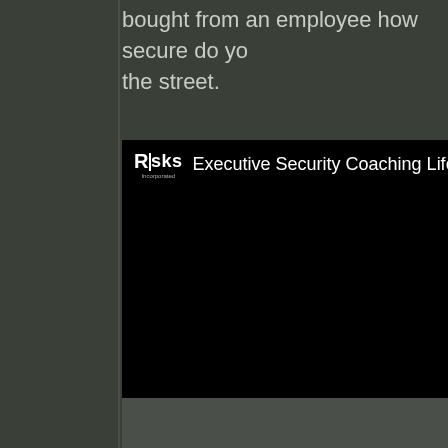bought from an employee how secure do yo the street.
[Figure (screenshot): A video player interface with black background showing the Risks Incorporated logo and the text 'Executive Security Coaching Life S' in a dark header bar. The main video area is black (video not playing/loaded).]